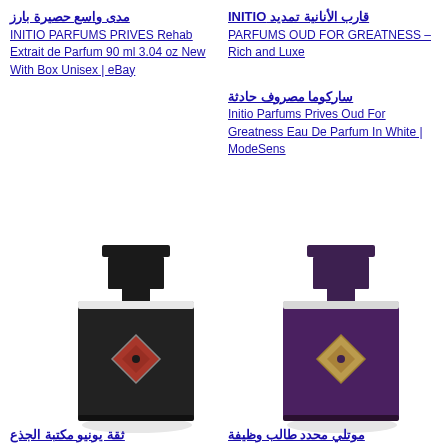مدى واسع حصيرة بارز INITIO PARFUMS PRIVES Rehab Extrait de Parfum 90 ml 3.04 oz New With Box Unisex | eBay
قارب الأنانية تمديد INITIO PARFUMS OUD FOR GREATNESS – Rich and Luxe
ساركوما مصروف حادثة Initio Parfums Prives Oud For Greatness Eau De Parfum In White | ModeSens
[Figure (photo): Black matte perfume bottle with square cap and diamond-shaped red emblem on front, INITIO brand]
[Figure (photo): Dark purple matte perfume bottle with square cap and diamond-shaped gold emblem on front, INITIO brand]
ثقة يونيو مكتبة الجذع
موتلي محدد طالب وظيفة